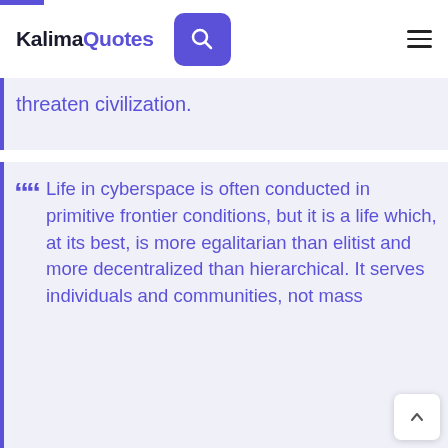KalimaQuotes
threaten civilization.
Life in cyberspace is often conducted in primitive frontier conditions, but it is a life which, at its best, is more egalitarian than elitist and more decentralized than hierarchical. It serves individuals and communities, not mass